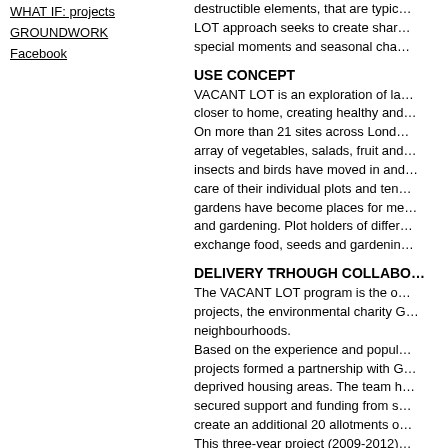WHAT IF: projects
GROUNDWORK
Facebook
destructible elements, that are typical... LOT approach seeks to create shared... special moments and seasonal cha...
USE CONCEPT
VACANT LOT is an exploration of la... closer to home, creating healthy and... On more than 21 sites across Londo... array of vegetables, salads, fruit and... insects and birds have moved in and... care of their individual plots and ten... gardens have become places for me... and gardening. Plot holders of differ... exchange food, seeds and gardenin...
DELIVERY TRHOUGH COLLABOI...
The VACANT LOT program is the o... projects, the environmental charity G... neighbourhoods. Based on the experience and popula... projects formed a partnership with G... deprived housing areas. The team h... secured support and funding from s... create an additional 20 allotments o... This three-year project (2009-2012)... together over 880 residents, 4 garde...